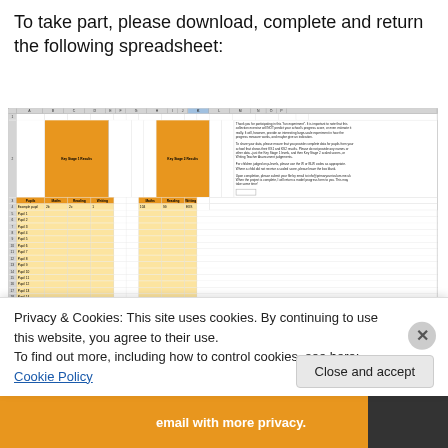To take part, please download, complete and return the following spreadsheet:
[Figure (screenshot): Screenshot of an Excel spreadsheet with columns for Pupils, Key Stage 1 Results (Maths, Reading, Writing) and Key Stage 2 Results (Maths, Reading, Writing). Rows include Example pupil and Pupil 1 through Pupil 25+. To the right is instructional text about the 'fun experiment' data collection exercise, referencing info@primarycurriculum.me.uk.]
Privacy & Cookies: This site uses cookies. By continuing to use this website, you agree to their use.
To find out more, including how to control cookies, see here: Cookie Policy
Close and accept